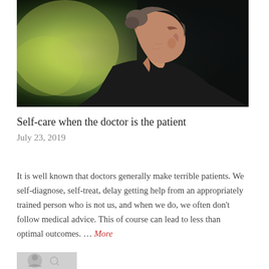[Figure (photo): Profile view of an elderly woman with grey hair pulled back, wearing a dark top, photographed outdoors with a soft green blurred background]
Self-care when the doctor is the patient
July 23, 2019
It is well known that doctors generally make terrible patients. We self-diagnose, self-treat, delay getting help from an appropriately trained person who is not us, and when we do, we often don't follow medical advice. This of course can lead to less than optimal outcomes. … More
[Figure (photo): Partial thumbnail image at bottom left, appears to show a figure or icon]